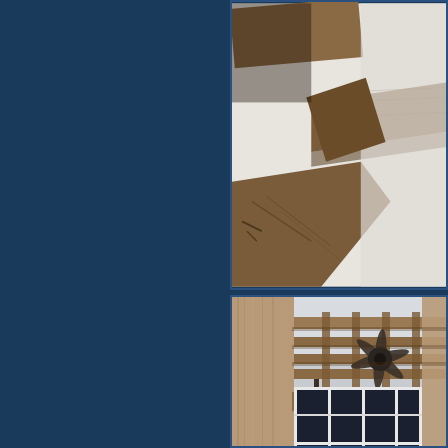[Figure (photo): Close-up view of wooden pergola beam/rafter corner detail against white stucco wall background]
[Figure (photo): Wider view of wooden pergola structure with lattice roof, ceiling fan hanging from beams, large white-framed windows of house visible below, brick/stucco wall column in foreground]